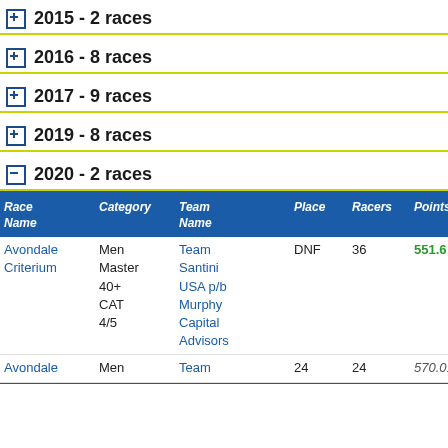2015 - 2 races
2016 - 8 races
2017 - 9 races
2019 - 8 races
2020 - 2 races
| Race Name | Category | Team Name | Place | Racers | Points | Upg Pts* |
| --- | --- | --- | --- | --- | --- | --- |
| Avondale Criterium | Men Master 40+ CAT 4/5 | Team Santini USA p/b Murphy Capital Advisors | DNF | 36 | 551.6 |  |
| Avondale | Men | Team | 24 | 24 | 570.01 |  |